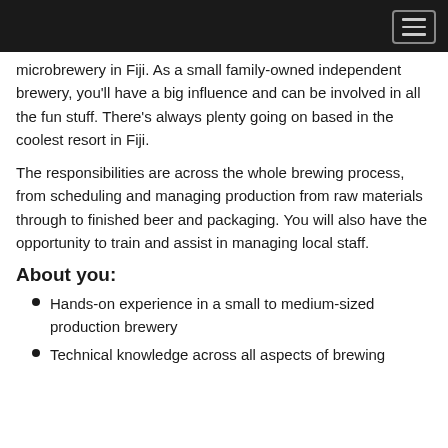microbrewery in Fiji. As a small family-owned independent brewery, you'll have a big influence and can be involved in all the fun stuff. There's always plenty going on based in the coolest resort in Fiji.
The responsibilities are across the whole brewing process, from scheduling and managing production from raw materials through to finished beer and packaging. You will also have the opportunity to train and assist in managing local staff.
About you:
Hands-on experience in a small to medium-sized production brewery
Technical knowledge across all aspects of brewing